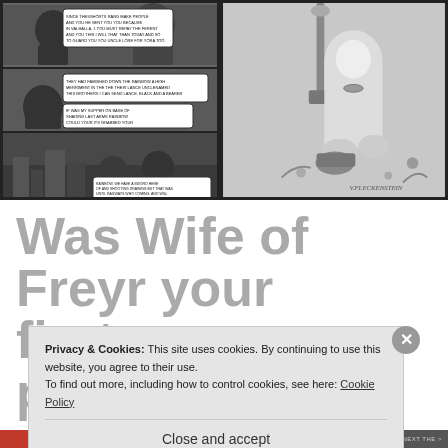[Figure (illustration): Left comic book page panels showing bearded character with speech bubbles in black and white; right illustration showing a female figure with long hair kneeling, signed V. FLECKENSTEIN, black and white]
Was Wife of Freyr your first publication?
Privacy & Cookies: This site uses cookies. By continuing to use this website, you agree to their use.
To find out more, including how to control cookies, see here: Cookie Policy
Close and accept